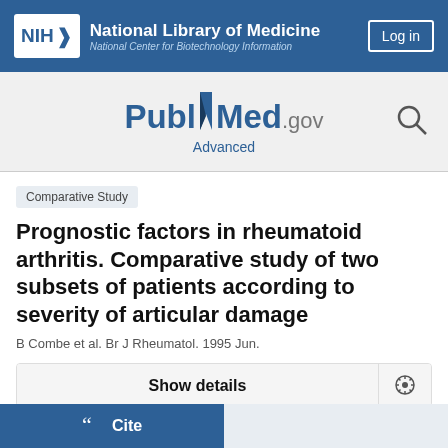[Figure (logo): NIH National Library of Medicine header with blue background, NIH logo box, site name, and Log in button]
[Figure (logo): PubMed.gov logo with search icon and Advanced link]
Comparative Study
Prognostic factors in rheumatoid arthritis. Comparative study of two subsets of patients according to severity of articular damage
B Combe et al. Br J Rheumatol. 1995 Jun.
Show details
Cite